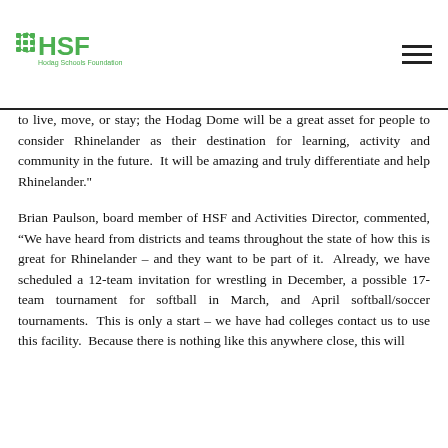HSF – Hodag Schools Foundation
to live, move, or stay; the Hodag Dome will be a great asset for people to consider Rhinelander as their destination for learning, activity and community in the future.  It will be amazing and truly differentiate and help Rhinelander."
Brian Paulson, board member of HSF and Activities Director, commented, “We have heard from districts and teams throughout the state of how this is great for Rhinelander – and they want to be part of it.  Already, we have scheduled a 12-team invitation for wrestling in December, a possible 17-team tournament for softball in March, and April softball/soccer tournaments.  This is only a start – we have had colleges contact us to use this facility.  Because there is nothing like this anywhere close, this will